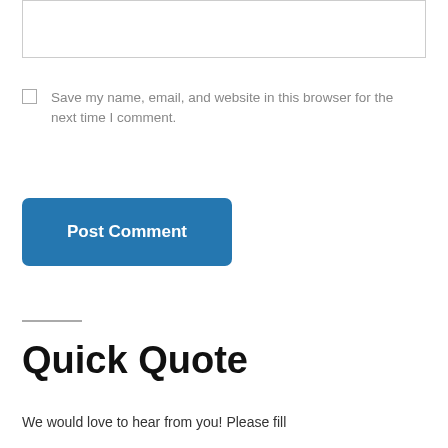[Figure (screenshot): A textarea input box with a thin border, partially visible at the top of the page]
Save my name, email, and website in this browser for the next time I comment.
Post Comment
Quick Quote
We would love to hear from you! Please fill